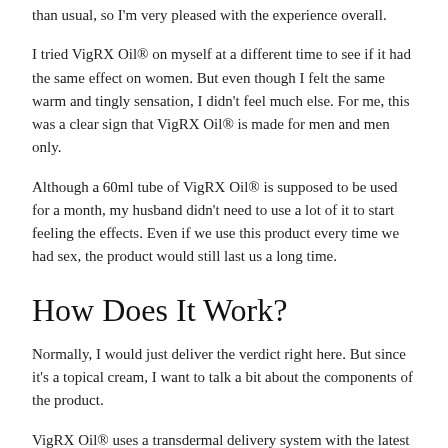than usual, so I'm very pleased with the experience overall.
I tried VigRX Oil® on myself at a different time to see if it had the same effect on women. But even though I felt the same warm and tingly sensation, I didn't feel much else. For me, this was a clear sign that VigRX Oil® is made for men and men only.
Although a 60ml tube of VigRX Oil® is supposed to be used for a month, my husband didn't need to use a lot of it to start feeling the effects. Even if we use this product every time we had sex, the product would still last us a long time.
How Does It Work?
Normally, I would just deliver the verdict right here. But since it's a topical cream, I want to talk a bit about the components of the product.
VigRX Oil® uses a transdermal delivery system with the latest